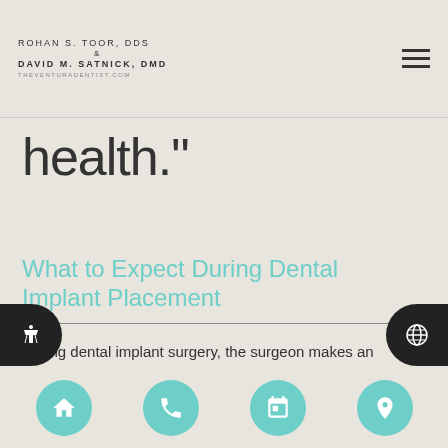ROHAN S. TOOR, DDS & DAVID M. SATNICK, DMD THEVENTURADENTIST.COM
health."
What to Expect During Dental Implant Placement
During dental implant surgery, the surgeon makes an incision into the gums where the missing tooth was. The surgeon then drills into the jawbone. After accessing fairly deep inside the jawbone, the